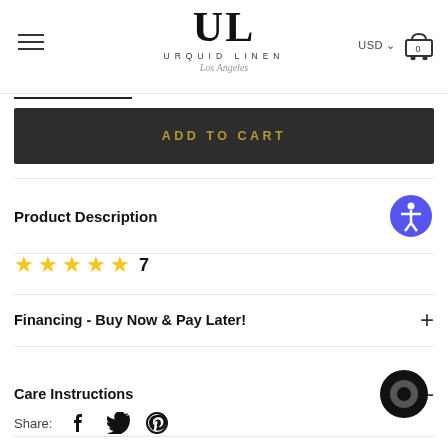[Figure (logo): Urquid Linen Los Angeles logo with UL monogram, hamburger menu, USD selector, and cart icon]
[Figure (other): Short horizontal divider line]
ADD TO CART
Product Description
★★★★★ 7
Financing - Buy Now & Pay Later!
Care Instructions
Share: